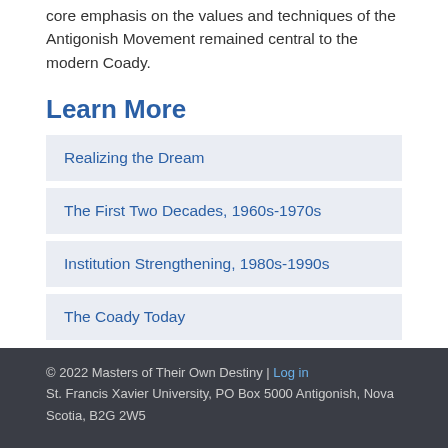core emphasis on the values and techniques of the Antigonish Movement remained central to the modern Coady.
Learn More
Realizing the Dream
The First Two Decades, 1960s-1970s
Institution Strengthening, 1980s-1990s
The Coady Today
© 2022 Masters of Their Own Destiny | Log in
St. Francis Xavier University, PO Box 5000 Antigonish, Nova Scotia, B2G 2W5